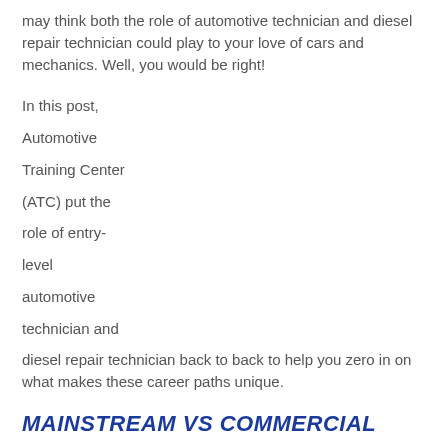may think both the role of automotive technician and diesel repair technician could play to your love of cars and mechanics. Well, you would be right!
In this post, Automotive Training Center (ATC) put the role of entry-level automotive technician and diesel repair technician back to back to help you zero in on what makes these career paths unique.
MAINSTREAM VS COMMERCIAL